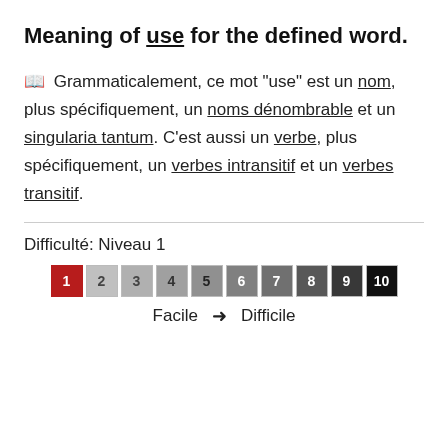Meaning of use for the defined word.
Grammaticalement, ce mot "use" est un nom, plus spécifiquement, un noms dénombrable et un singularia tantum. C'est aussi un verbe, plus spécifiquement, un verbes intransitif et un verbes transitif.
Difficulté: Niveau 1
[Figure (infographic): Difficulty scale from 1 to 10, with box 1 highlighted in red, boxes 2-10 in progressively darker grey/black. Below: 'Facile → Difficile']